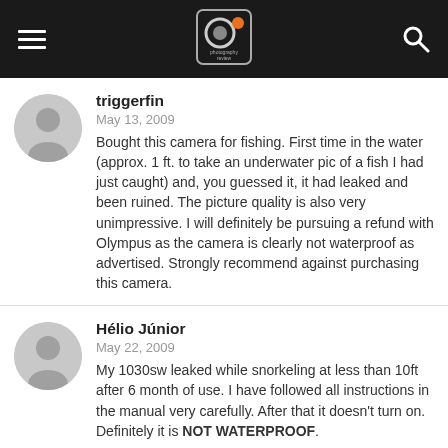Photography Review
triggerfin
May 13, 2009
Bought this camera for fishing. First time in the water (approx. 1 ft. to take an underwater pic of a fish I had just caught) and, you guessed it, it had leaked and been ruined. The picture quality is also very unimpressive. I will definitely be pursuing a refund with Olympus as the camera is clearly not waterproof as advertised. Strongly recommend against purchasing this camera.
Hélio Júnior
May 22, 2009
My 1030sw leaked while snorkeling at less than 10ft after 6 month of use. I have followed all instructions in the manual very carefully. After that it doesn't turn on. Definitely it is NOT WATERPROOF.